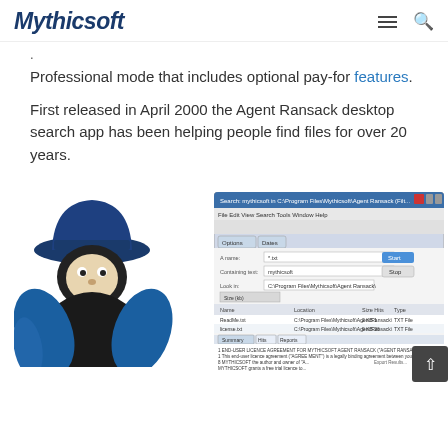Mythicsoft
Professional mode that includes optional pay-for features.
First released in April 2000 the Agent Ransack desktop search app has been helping people find files for over 20 years.
[Figure (screenshot): Agent Ransack mascot (detective with blue hat) overlaid with a screenshot of the Agent Ransack desktop search application window showing search fields and results]